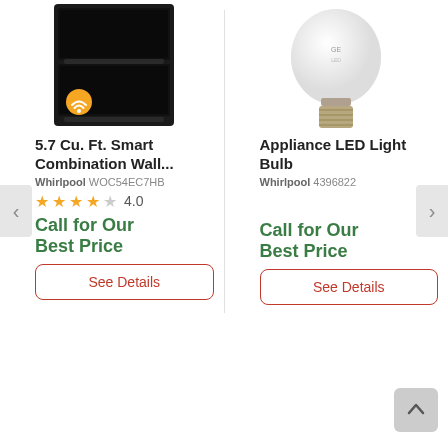[Figure (photo): Product photo of a black Whirlpool smart combination wall oven with a WiFi badge icon]
[Figure (photo): Product photo of a Whirlpool appliance LED light bulb with E26 base]
5.7 Cu. Ft. Smart Combination Wall...
Appliance LED Light Bulb
Whirlpool WOC54EC7HB
Whirlpool 4396822
4.0
Call for Our Best Price
Call for Our Best Price
See Details
See Details